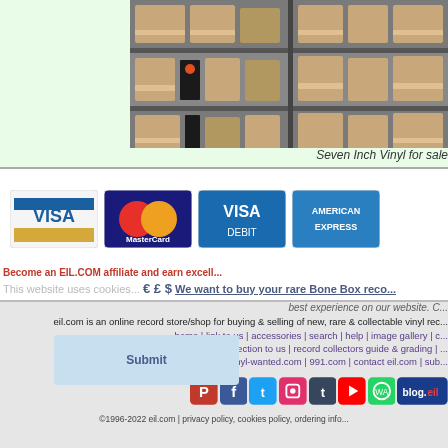[Figure (photo): Shelves of cardboard boxes containing seven inch vinyl records in a warehouse or record store]
Seven Inch Vinyl for sale
[Figure (infographic): Payment logos: Visa, MasterCard, Visa Debit, American Express]
Become an EIL.COM affiliate and earn excell...
This website uses cookies... € £ $ We want to buy your rare Bone Box reco...
best experience on our website. C...
eil.com is an online record store/shop for buying & selling of new, rare & collectable vinyl rec...
home | link to us | accessories | search | help | image gallery | c...
sell your collection to us | record collectors guide & grading | ...
vinyl-wanted.com | 991.com | contact eil.com | sub...
[Figure (infographic): Social media icons: Pinterest, Facebook, Twitter, Instagram, Tumblr, YouTube, WhatsApp, blog.eil]
©1996-2022 eil.com | privacy policy, cookies policy, ordering info...